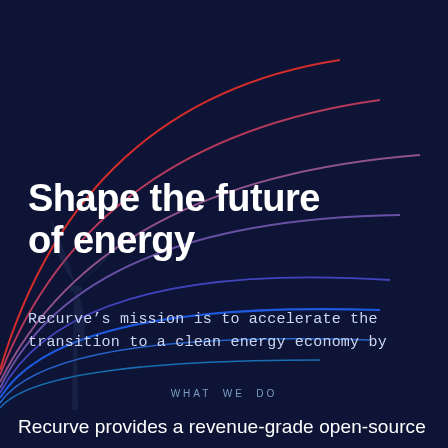[Figure (illustration): Dark navy background with decorative curved lines radiating from lower-left, in red, pink, purple, and blue gradients, creating a layered arc effect across the upper portion of the page. A faint wind turbine silhouette is visible at lower left.]
Shape the future of energy
Recurve’s mission is to accelerate the transition to a clean energy economy by
WHAT WE DO
Recurve provides a revenue-grade open-source